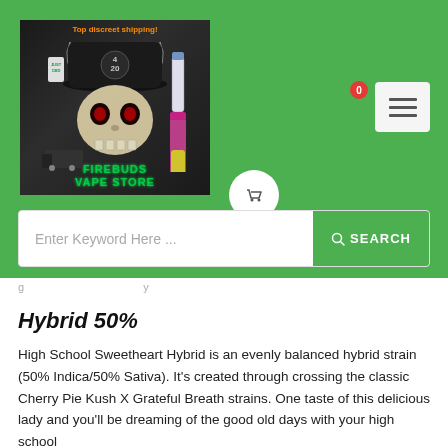[Figure (logo): Firebuds Vape Store logo with skull wearing a 420 hat, vape products, and text 'Top discreet shipping' in orange]
[Figure (other): Shopping cart icon with red badge showing 0]
[Figure (other): Hamburger menu button]
Enter Keyword Here ...
Hybrid 50%
High School Sweetheart Hybrid is an evenly balanced hybrid strain (50% Indica/50% Sativa). It's created through crossing the classic Cherry Pie Kush X Grateful Breath strains. One taste of this delicious lady and you'll be dreaming of the good old days with your high school